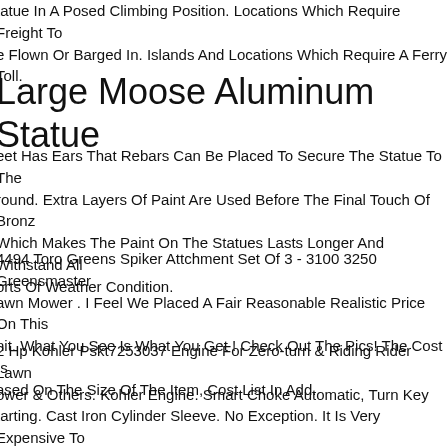tatue In A Posed Climbing Position. Locations Which Require Freight To Be Flown Or Barged In. Islands And Locations Which Require A Ferry Toll.
Large Moose Aluminum Statue
eet Has Ears That Rebars Can Be Placed To Secure The Statue To The round. Extra Layers Of Paint Are Used Before The Final Touch Of Bronz Which Makes The Paint On The Statues Lasts Longer And Withstand All orts Of Weather Condition.
4494 Toro Greens Spiker Attchment Set Of 3 - 3100 3250 Greensmaster awn Mower . I Feel We Placed A Fair Reasonable Realistic Price On This nit. What You See Is What You Get ! Check Out The Pics! The Cost Is ased On The Size Of The Item, Cost List In Add.
2 Hp Kohler Pskt7253037 Engine For Zero-turn & Riding Rider Lawn ower & Others. Kohler Engine. Smart Choke Automatic, Turn Key tarting. Cast Iron Cylinder Sleeve. No Exception. It Is Very Expensive To uy A Wrong Engine. 12 Volt Electric Start. Crankshaft Size 1" Dia. X 3-32" Length Keyed Crankshaft.
Riding Mower, Lawn mower, Yard Area, Toro, Ask, Ch, Ri...